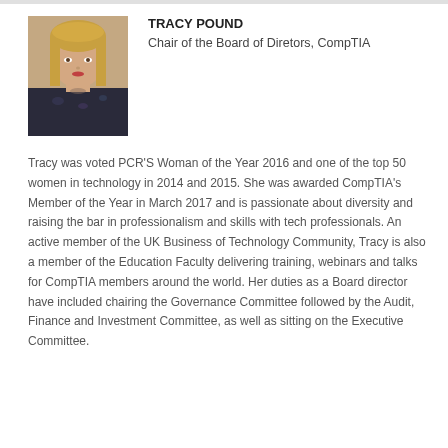[Figure (photo): Headshot photo of Tracy Pound, a woman with long blonde hair wearing a dark floral blouse]
TRACY POUND
Chair of the Board of Diretors, CompTIA
Tracy was voted PCR'S Woman of the Year 2016 and one of the top 50 women in technology in 2014 and 2015. She was awarded CompTIA's Member of the Year in March 2017 and is passionate about diversity and raising the bar in professionalism and skills with tech professionals. An active member of the UK Business of Technology Community, Tracy is also a member of the Education Faculty delivering training, webinars and talks for CompTIA members around the world. Her duties as a Board director have included chairing the Governance Committee followed by the Audit, Finance and Investment Committee, as well as sitting on the Executive Committee.